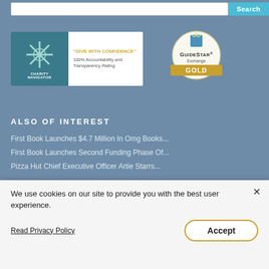[Figure (screenshot): Search bar with input field and teal Search button at top]
[Figure (logo): Charity Navigator badge with 'Give With Confidence' text, 100% Accountability and Transparency Rating]
[Figure (logo): GuideStar Exchange Gold Participant badge]
ALSO OF INTEREST
First Book Launches $4.7 Million In Omg Books...
First Book Launches Second Funding Phase Of...
Pizza Hut Chief Executive Officer Artie Starrs...
We use cookies on our site to provide you with the best user experience.
Read Privacy Policy
Accept